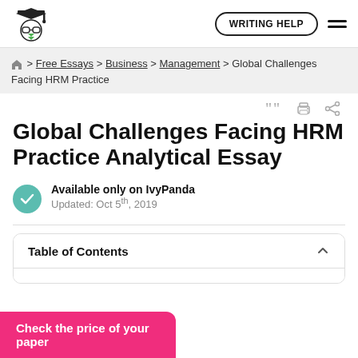WRITING HELP
Home > Free Essays > Business > Management > Global Challenges Facing HRM Practice
Global Challenges Facing HRM Practice Analytical Essay
Available only on IvyPanda
Updated: Oct 5th, 2019
Table of Contents
Check the price of your paper